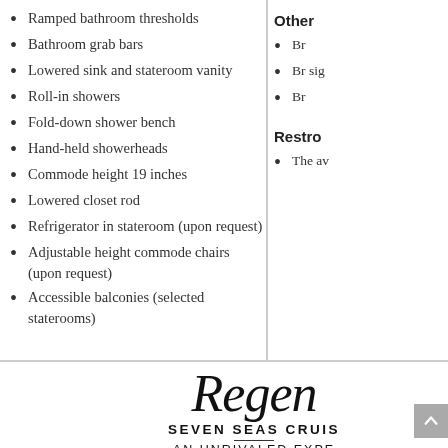Ramped bathroom thresholds
Bathroom grab bars
Lowered sink and stateroom vanity
Roll-in showers
Fold-down shower bench
Hand-held showerheads
Commode height 19 inches
Lowered closet rod
Refrigerator in stateroom (upon request)
Adjustable height commode chairs (upon request)
Accessible balconies (selected staterooms)
Other
Br...
Br... sig...
Br...
Restro...
The... av...
[Figure (logo): Regent Seven Seas Cruises logo with script Regent text, SEVEN SEAS CRUISES in caps, decorative rule, and AN UNRIVALED EXPERIENCE tagline]